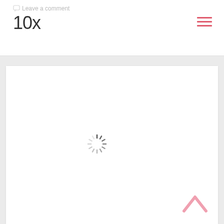Leave a comment
10x
[Figure (screenshot): White content card with a loading spinner (circular dashed spinner) centered on the page, and a pink chevron/arrow up button at the bottom right corner]
[Figure (other): Hamburger menu icon with three horizontal pink lines in the top right of the header]